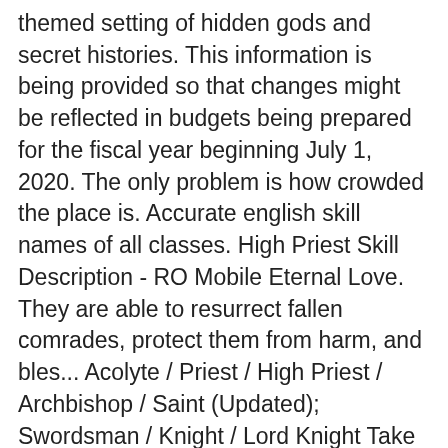themed setting of hidden gods and secret histories. This information is being provided so that changes might be reflected in budgets being prepared for the fiscal year beginning July 1, 2020. The only problem is how crowded the place is. Accurate english skill names of all classes. High Priest Skill Description - RO Mobile Eternal Love. They are able to resurrect fallen comrades, protect them from harm, and bles... Acolyte / Priest / High Priest / Archbishop / Saint (Updated); Swordsman / Knight / Lord Knight Take the First Test (Pilgrimage)The first test will be a pilgrimage. Ayothaya is everyone's JOB XP favorite place. They are substantially more difficult to obtain and win with, and can only be accessed after achieving the corresponding standard victoryvia one of the Standard or DLC Legacies. The three Apostle Legacies were added to Cultist Simulator in a free update. and can randomly give you Notoriety. Regal tells Priest he deserved that. These are defeats in